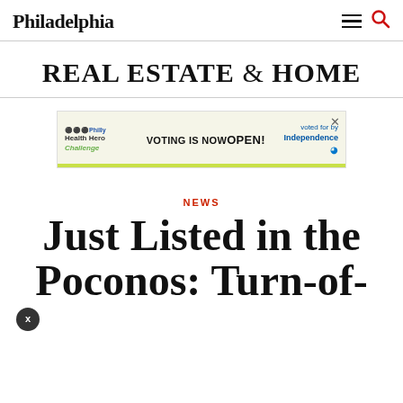Philadelphia
REAL ESTATE & HOME
[Figure (other): Advertisement banner: Philadelphia Health Hero Challenge - VOTING IS NOW OPEN! Independence Blue Cross logo]
NEWS
Just Listed in the Poconos: Turn-of-